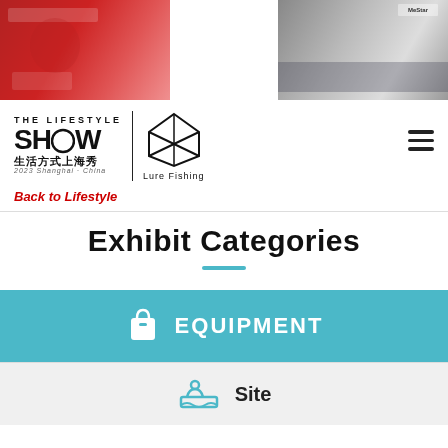[Figure (photo): Two partial photos at top: left shows a person in red jacket at an event with Chinese text banner; right shows a trade show booth interior with MeStar signage]
[Figure (logo): The Lifestyle Show logo with Chinese text 生活方式上海秀, 2023 Shanghai China, and Lure Fishing logo (geometric diamond shape)]
Back to Lifestyle
Exhibit Categories
EQUIPMENT
Site